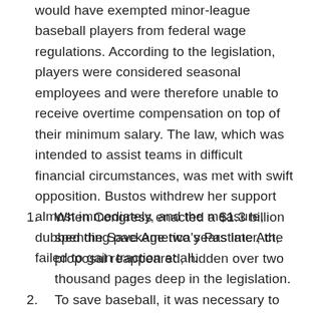would have exempted minor-league baseball players from federal wage regulations. According to the legislation, players were considered seasonal employees and were therefore unable to receive overtime compensation on top of their minimum salary. The law, which was intended to assist teams in difficult financial circumstances, was met with swift opposition. Bustos withdrew her support almost immediately, and the measure, dubbed the Save America's Pastime Act, failed to gain traction at all.
When Congress enacted a $1.3 billion spending package two years later, the proposal reappeared, hidden over two thousand pages deep in the legislation.
To save baseball, it was necessary to codify